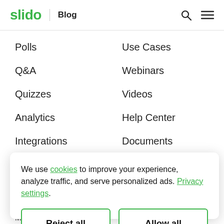slido | Blog
Polls
Use Cases
Q&A
Webinars
Quizzes
Videos
Analytics
Help Center
Integrations
Documents
We use cookies to improve your experience, analyze traffic, and serve personalized ads. Privacy settings.
Reject all
Allow all
Microsoft Teams